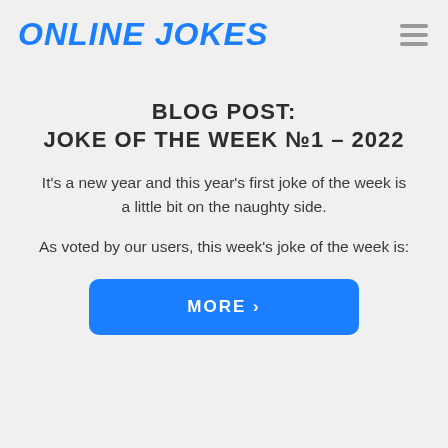ONLINE JOKES
BLOG POST:
JOKE OF THE WEEK №1 – 2022
It's a new year and this year's first joke of the week is a little bit on the naughty side.
As voted by our users, this week's joke of the week is:
MORE ›